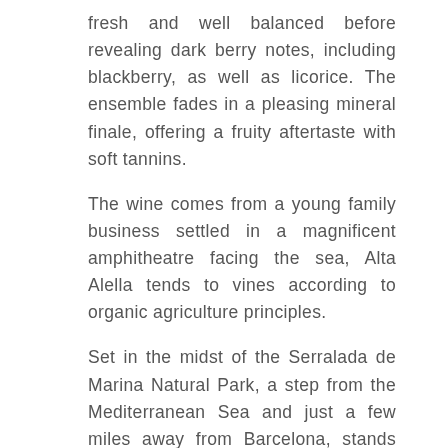fresh and well balanced before revealing dark berry notes, including blackberry, as well as licorice. The ensemble fades in a pleasing mineral finale, offering a fruity aftertaste with soft tannins.
The wine comes from a young family business settled in a magnificent amphitheatre facing the sea, Alta Alella tends to vines according to organic agriculture principles.
Set in the midst of the Serralada de Marina Natural Park, a step from the Mediterranean Sea and just a few miles away from Barcelona, stands the ALTA ALELLA MIRGIN winery, the dream-come-true of the Pujol-Busquets Guilléns. A family that has always been dedicated to viticulture. Josep Maria and Cristina have spent their whole lives sharing the wine and cava culture. Their daughters Mireia and Georgina grew up surrounded by vineyards, grapes, harvests and bottles. It's in their DNA.